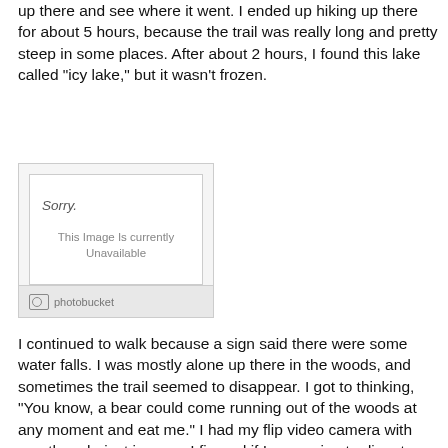up there and see where it went. I ended up hiking up there for about 5 hours, because the trail was really long and pretty steep in some places. After about 2 hours, I found this lake called "icy lake," but it wasn't frozen.
[Figure (photo): Photobucket placeholder image showing 'Sorry. This Image Is Currently Unavailable' with Photobucket branding at the bottom.]
I continued to walk because a sign said there were some water falls. I was mostly alone up there in the woods, and sometimes the trail seemed to disappear. I got to thinking, "You know, a bear could come running out of the woods at any moment and eat me." I had my flip video camera with me, though, just in case. I figured if I was going to die, at least maybe somebody could be entertained once they found the video recorder. They could see the bear coming. I didn't see any bears, though. I didn't see a moose either. Shoot, I hardly saw any wildlife at all up there. Near the bottom, I saw